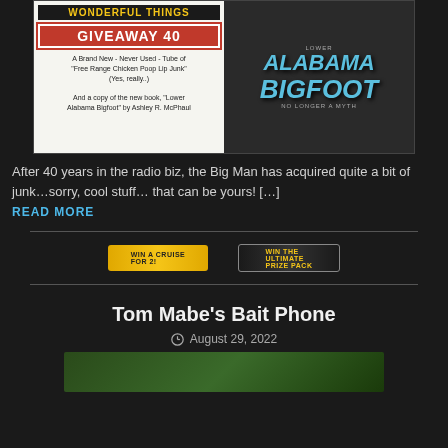[Figure (photo): Giveaway 40 promotional image featuring 'Wonderful Things Giveaway 40' banner on left side with text about Free Range Chicken Poop Lip Junk and Lower Alabama Bigfoot book, and book cover on right side]
After 40 years in the radio biz, the Big Man has acquired quite a bit of junk…sorry, cool stuff… that can be yours! […]
READ MORE
[Figure (other): Win a Cruise for 2 banner advertisement]
[Figure (other): Win the Ultimate prize banner advertisement]
Tom Mabe's Bait Phone
August 29, 2022
[Figure (photo): Bottom partial image with green grass/field background]